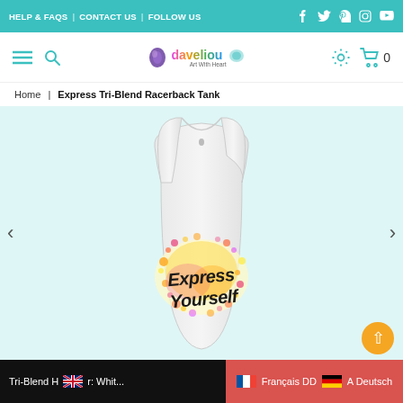HELP & FAQS | CONTACT US | FOLLOW US
[Figure (screenshot): Navigation bar with hamburger menu, search icon, daveliou logo (Art With Heart), settings gear icon, and shopping cart showing 0 items]
Home | Express Tri-Blend Racerback Tank
[Figure (photo): White/heather grey racerback tank top with colorful paint splash design and 'Express Yourself' text in black script on the front]
Tri-Blend He[flag UK]r: Whit... [flag France] Français DD [flag Germany] A Deutsch